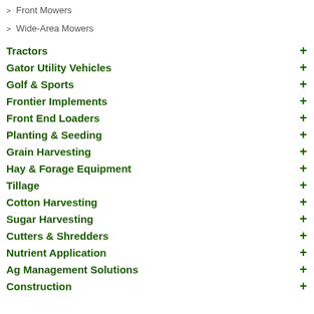> Front Mowers
> Wide-Area Mowers
Tractors +
Gator Utility Vehicles +
Golf & Sports +
Frontier Implements +
Front End Loaders +
Planting & Seeding +
Grain Harvesting +
Hay & Forage Equipment +
Tillage +
Cotton Harvesting +
Sugar Harvesting +
Cutters & Shredders +
Nutrient Application +
Ag Management Solutions +
Construction +